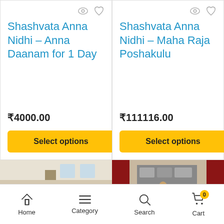Shashvata Anna Nidhi – Anna Daanam for 1 Day
₹4000.00
Select options
Shashvata Anna Nidhi – Maha Raja Poshakulu
₹111116.00
Select options
[Figure (photo): People seated at long tables eating a communal meal in an indoor hall]
[Figure (photo): Group of people dressed in red seated on the floor eating, in a kitchen or dining area with dark red pillars]
Home  Category  Search  Cart